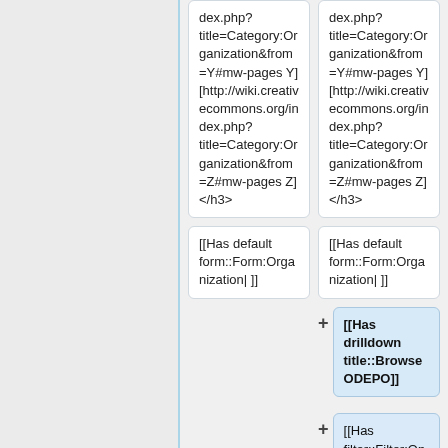dex.php?title=Category:Organization&from=Y#mw-pages Y] [http://wiki.creativecommons.org/index.php?title=Category:Organization&from=Z#mw-pages Z] </h3>
dex.php?title=Category:Organization&from=Y#mw-pages Y] [http://wiki.creativecommons.org/index.php?title=Category:Organization&from=Z#mw-pages Z] </h3>
[[Has default form::Form:Organization| ]]
[[Has default form::Form:Organization| ]]
[[Has drilldown title::Browse ODEPO]]
[[Has filter::Filter:Open or Free Statement| ]]